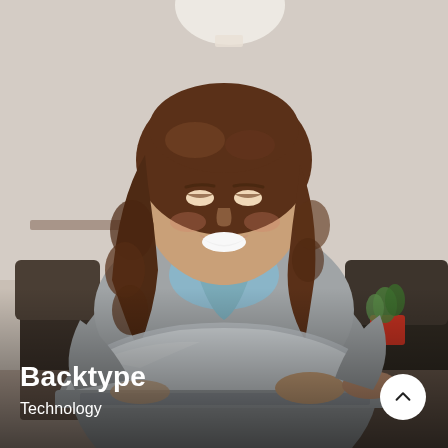[Figure (photo): A young woman with long curly auburn hair, smiling and looking down at a laptop she is using. She is wearing a grey sweater over a light blue collared shirt. The setting appears to be a cafe or office lounge with soft lighting, a lamp visible in the upper center, dark chairs, and a small red potted plant in the background on the right.]
Backtype
Technology